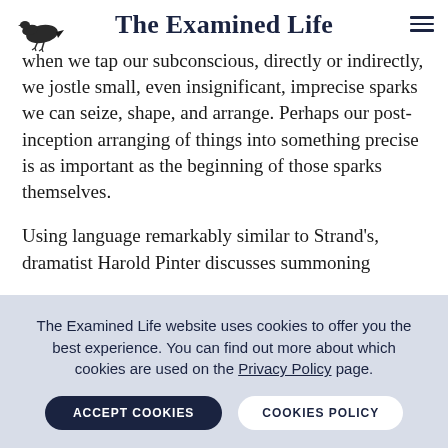The Examined Life
when we tap our subconscious, directly or indirectly, we jostle small, even insignificant, imprecise sparks we can seize, shape, and arrange. Perhaps our post-inception arranging of things into something precise is as important as the beginning of those sparks themselves.
Using language remarkably similar to Strand’s, dramatist Harold Pinter discusses summoning
The Examined Life website uses cookies to offer you the best experience. You can find out more about which cookies are used on the Privacy Policy page.